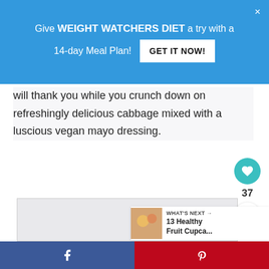Give WEIGHT WATCHERS DIET a try with a 14-day Meal Plan! GET IT NOW!
will thank you while you crunch down on refreshingly delicious cabbage mixed with a luscious vegan mayo dressing.
[Figure (other): Image placeholder box (light gray rectangle)]
37
WHAT'S NEXT → 13 Healthy Fruit Cupca...
Facebook share | Pinterest share